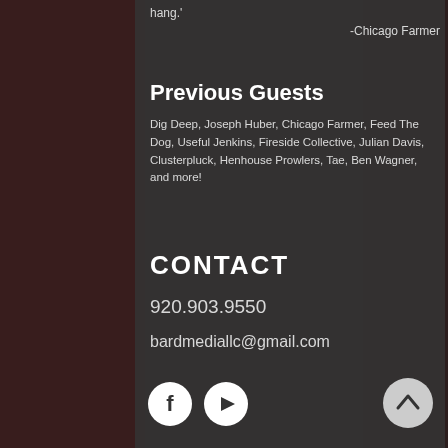hang.'
-Chicago Farmer
Previous Guests
Dig Deep, Joseph Huber, Chicago Farmer, Feed The Dog, Useful Jenkins, Fireside Collective, Julian Davis, Clusterpluck, Henhouse Prowlers, Tae, Ben Wagner, and more!
CONTACT
920.903.9550
bardmediallc@gmail.com
[Figure (logo): Facebook icon circle and YouTube icon circle social media buttons, plus scroll-to-top chevron button]